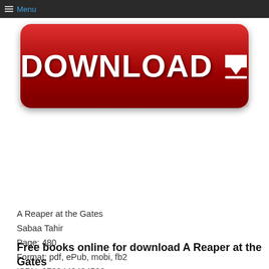Menu
[Figure (illustration): Red download button with white DOWNLOAD text and downward arrow icon, with a reflection below]
A Reaper at the Gates
Sabaa Tahir
Page: 480
Format: pdf, ePub, mobi, fb2
ISBN: 9780448494500
Publisher: Penguin Young Readers Group
Download A Reaper at the Gates
Free books online for download A Reaper at the Gates by Sabaa Tahir